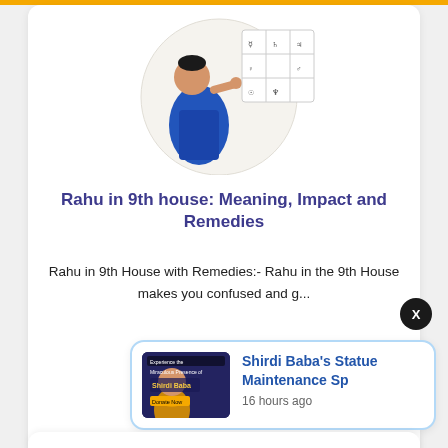[Figure (illustration): Circular illustration of a Hindu deity figure in traditional attire with a grid/chart overlay, representing astrological content]
Rahu in 9th house: Meaning, Impact and Remedies
Rahu in 9th House with Remedies:- Rahu in the 9th House makes you confused and g...
Read More
[Figure (photo): Thumbnail image of Shirdi Baba with text overlay about statue maintenance]
Shirdi Baba's Statue Maintenance Sp
16 hours ago